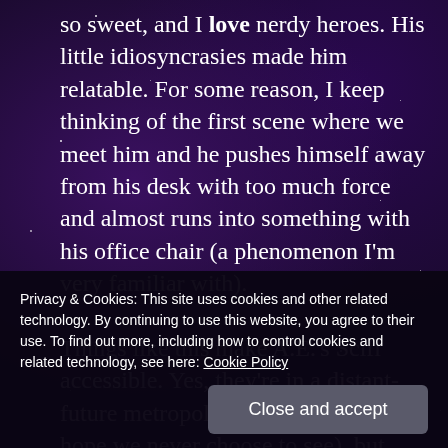so sweet, and I love nerdy heroes. His little idiosyncrasies made him relatable. For some reason, I keep thinking of the first scene where we meet him and he pushes himself away from his desk with too much force and almost runs into something with his office chair (a phenomenon I'm very familiar with).

Things like this make A.E.'s Scifi accessible. Yes, they're in a distant-future metropolis (the likes of which I hope we never choose to see), but they still eat ramen, work late, and play darts
Privacy & Cookies: This site uses cookies and other related technology. By continuing to use this website, you agree to their use. To find out more, including how to control cookies and related technology, see here: Cookie Policy